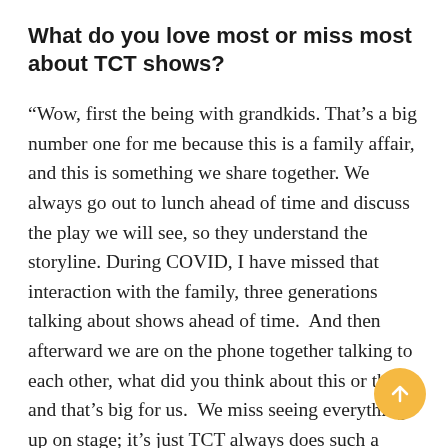What do you love most or miss most about TCT shows?
“Wow, first the being with grandkids. That’s a big number one for me because this is a family affair, and this is something we share together. We always go out to lunch ahead of time and discuss the play we will see, so they understand the storyline. During COVID, I have missed that interaction with the family, three generations talking about shows ahead of time.  And then afterward we are on the phone together talking to each other, what did you think about this or that, and that’s big for us.  We miss seeing everything up on stage; it’s just TCT always does such a beautiful job. Over th...